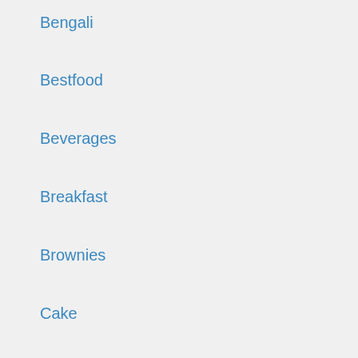Bengali
Bestfood
Beverages
Breakfast
Brownies
Cake
Casserole
Chicken
Chinese
Christmas
Chutney
Continental
Curry
Dal
Dessert